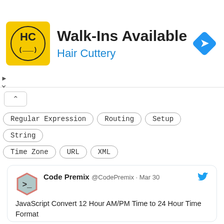[Figure (other): Hair Cuttery advertisement banner with yellow logo, 'Walk-Ins Available' headline, 'Hair Cuttery' subtitle in blue, and blue diamond direction arrow icon]
Regular Expression   Routing   Setup   String
Time Zone   URL   XML
[Figure (screenshot): Twitter/social media card for @CodePremix dated Mar 30 with tweet: 'JavaScript Convert 12 Hour AM/PM Time to 24 Hour Time Format' with link codepremix.com/javascript-con... and hashtags #codepremix #datetime #momentjs #javascript #javascript30 #coding #LearnToCode #development #programming #javascriptcode #CodeNewbies #code]